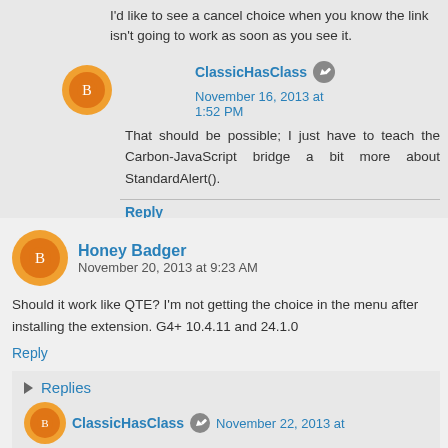I'd like to see a cancel choice when you know the link isn't going to work as soon as you see it.
ClassicHasClass  November 16, 2013 at 1:52 PM
That should be possible; I just have to teach the Carbon-JavaScript bridge a bit more about StandardAlert().
Reply
Honey Badger  November 20, 2013 at 9:23 AM
Should it work like QTE? I'm not getting the choice in the menu after installing the extension. G4+ 10.4.11 and 24.1.0
Reply
Replies
ClassicHasClass  November 22, 2013 at